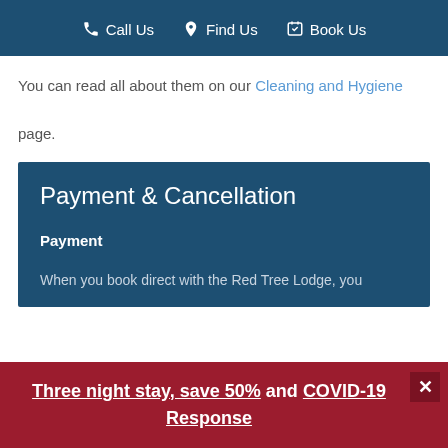Call Us   Find Us   Book Us
You can read all about them on our Cleaning and Hygiene page.
Payment & Cancellation
Payment
When you book direct with the Red Tree Lodge, you
Three night stay, save 50% and COVID-19 Response